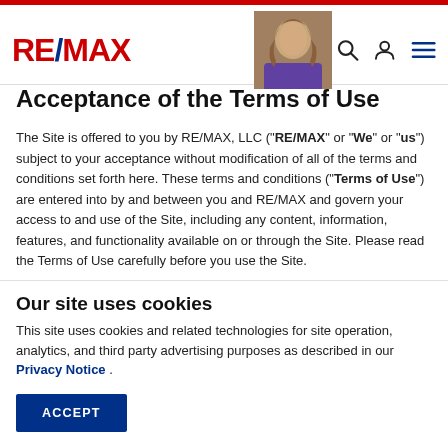RE/MAX logo and navigation header
Acceptance of the Terms of Use
The Site is offered to you by RE/MAX, LLC ("RE/MAX" or "We" or "us") subject to your acceptance without modification of all of the terms and conditions set forth here. These terms and conditions ("Terms of Use") are entered into by and between you and RE/MAX and govern your access to and use of the Site, including any content, information, features, and functionality available on or through the Site. Please read the Terms of Use carefully before you use the Site.
Our site uses cookies
This site uses cookies and related technologies for site operation, analytics, and third party advertising purposes as described in our Privacy Notice .